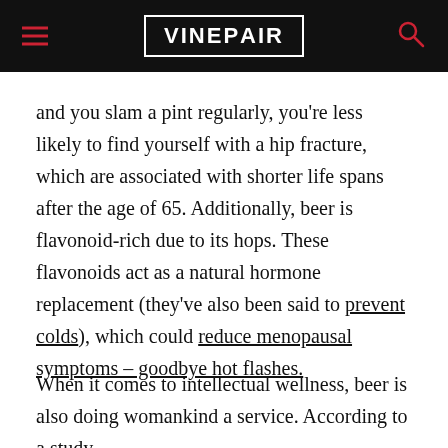VINEPAIR
and you slam a pint regularly, you're less likely to find yourself with a hip fracture, which are associated with shorter life spans after the age of 65. Additionally, beer is flavonoid-rich due to its hops. These flavonoids act as a natural hormone replacement (they've also been said to prevent colds), which could reduce menopausal symptoms – goodbye hot flashes.
When it comes to intellectual wellness, beer is also doing womankind a service. According to a study